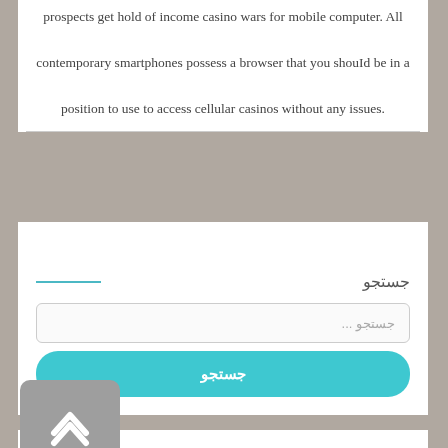prospects get hold of income casino wars for mobile computer. All contemporary smartphones possess a browser that you should be in a position to use to access cellular casinos without any issues.
جستجو
جستجو ...
جستجو